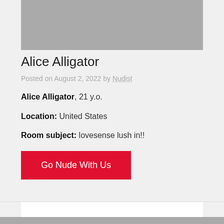[Figure (photo): Gray placeholder image at top of page]
Alice Alligator
Posted on August 2, 2022 by Nudist
Alice Alligator, 21 y.o.
Location: United States
Room subject: lovesense lush in!!
Go Nude With Us